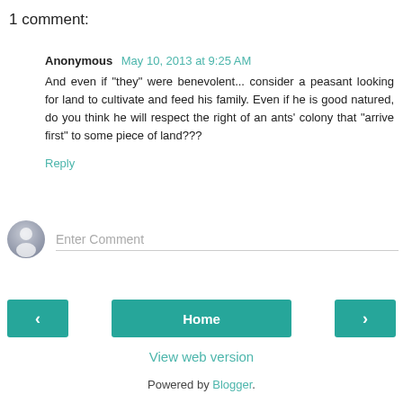1 comment:
Anonymous May 10, 2013 at 9:25 AM
And even if "they" were benevolent... consider a peasant looking for land to cultivate and feed his family. Even if he is good natured, do you think he will respect the right of an ants' colony that "arrive first" to some piece of land???
Reply
[Figure (other): User avatar placeholder icon (grey circle with silhouette)]
Enter Comment
< Home >
View web version
Powered by Blogger.